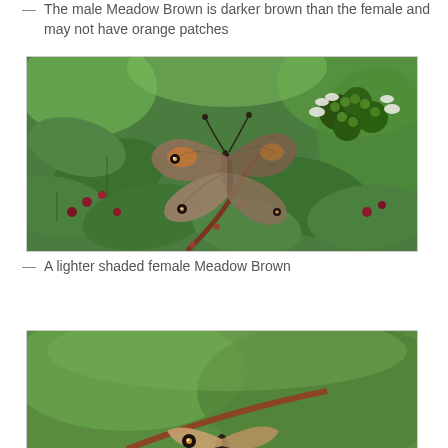— The male Meadow Brown is darker brown than the female and may not have orange patches
[Figure (photo): Close-up photograph of a Meadow Brown butterfly with wings open, perched on bramble leaves and flowers with green and white blossoms in the background]
— A lighter shaded female Meadow Brown
[Figure (photo): Partial photograph of another Meadow Brown butterfly, showing the lower portion against a green blurred background]